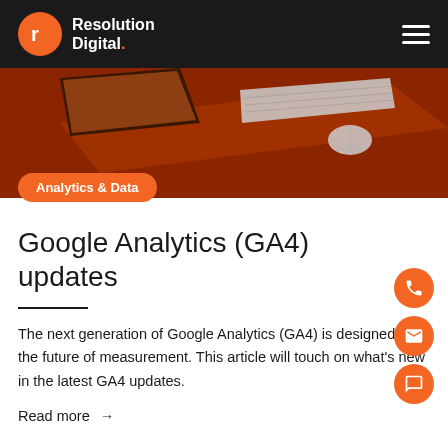Resolution Digital.
[Figure (illustration): Hero image showing an isometric view of a laptop and keyboard on a dark orange/brown surface]
Analytics & Data
Google Analytics (GA4) updates
The next generation of Google Analytics (GA4) is designed for the future of measurement. This article will touch on what's new in the latest GA4 updates.
Read more →